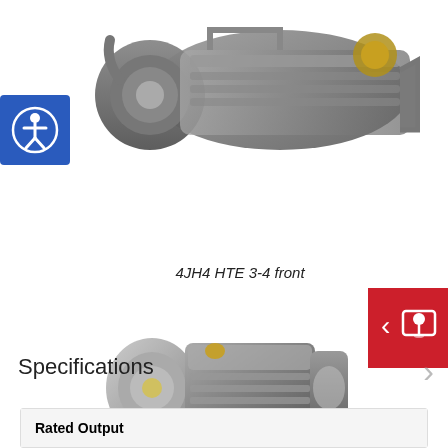[Figure (photo): Close-up photo of a Yanmar 4JH4 HTE marine diesel engine, 3-4 front view, showing engine block, turbocharger and components from above/front angle]
[Figure (photo): Accessibility icon button (blue background, white person with circle icon)]
[Figure (photo): Map/dealer locator button (red background, white map pin with map icon, left chevron arrow)]
4JH4 HTE 3-4 front
[Figure (photo): Full view photo of a Yanmar 4JH4 HTE marine diesel engine with gearbox, silver/grey metallic, front three-quarter view on white background]
Specifications
| Rated Output |
| --- |